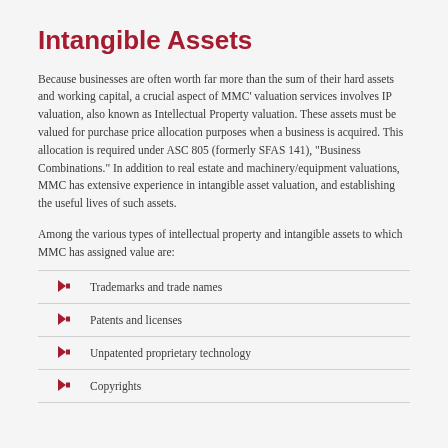Intangible Assets
Because businesses are often worth far more than the sum of their hard assets and working capital, a crucial aspect of MMC' valuation services involves IP valuation, also known as Intellectual Property valuation. These assets must be valued for purchase price allocation purposes when a business is acquired. This allocation is required under ASC 805 (formerly SFAS 141), "Business Combinations." In addition to real estate and machinery/equipment valuations, MMC has extensive experience in intangible asset valuation, and establishing the useful lives of such assets.
Among the various types of intellectual property and intangible assets to which MMC has assigned value are:
Trademarks and trade names
Patents and licenses
Unpatented proprietary technology
Copyrights